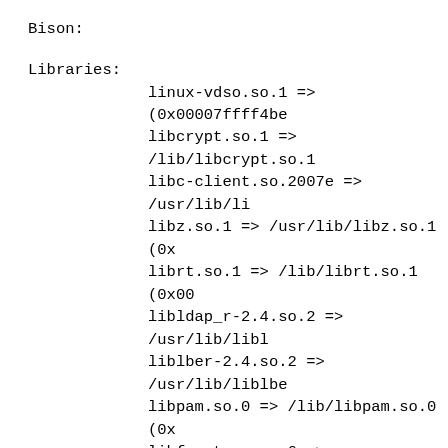Bison:
Libraries:
        linux-vdso.so.1 => (0x00007ffff4be
        libcrypt.so.1 => /lib/libcrypt.so.1
        libc-client.so.2007e => /usr/lib/li
        libz.so.1 => /usr/lib/libz.so.1 (0x
        librt.so.1 => /lib/librt.so.1 (0x00
        libldap_r-2.4.so.2 => /usr/lib/libl
        liblber-2.4.so.2 => /usr/lib/liblbe
        libpam.so.0 => /lib/libpam.so.0 (0x
        libfreetype.so.6 => /usr/lib/libfre
        libX11.so.6 => /usr/lib/libX11.so.6
        libXpm.so.4 => /usr/lib/libXpm.so.4
        libpng12.so.0 => /lib/libpng12.so.0
        libjpeg.so.62 => /usr/lib/libjpeg.s
        libbz2.so.1.0 => /lib/libbz2.so.1.0
        libpcre.so.3 => /lib/libpcre.so.3 (
        libdl.so.2 => /lib/libdl.so.2 (0x00